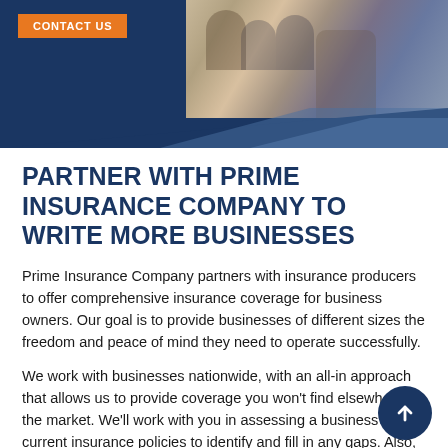[Figure (photo): Hero banner with dark navy blue background and a photo of business people meeting at a table on the right side, with diagonal decorative shapes at the bottom.]
CONTACT US
PARTNER WITH PRIME INSURANCE COMPANY TO WRITE MORE BUSINESSES
Prime Insurance Company partners with insurance producers to offer comprehensive insurance coverage for business owners. Our goal is to provide businesses of different sizes the freedom and peace of mind they need to operate successfully.
We work with businesses nationwide, with an all-in approach that allows us to provide coverage you won't find elsewhere on the market. We'll work with you in assessing a business' current insurance policies to identify and fill in any gaps. Also, we have an in-house team of legal experts